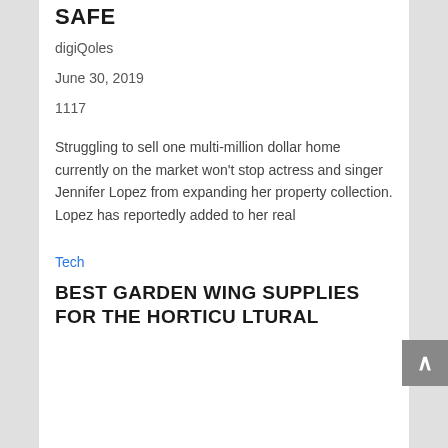SAFE
digiQoles
June 30, 2019
1117
Struggling to sell one multi-million dollar home currently on the market won't stop actress and singer Jennifer Lopez from expanding her property collection. Lopez has reportedly added to her real
Tech
BEST GARDEN WING SUPPLIES FOR THE HORTICU LTURAL